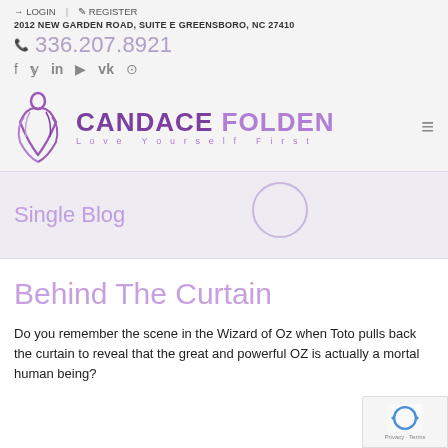LOGIN   REGISTER
2012 NEW GARDEN ROAD, SUITE E GREENSBORO, NC 27410
336.207.8921
[Figure (logo): Candace Folden 'Love Yourself First' logo with purple figure and text]
Single Blog
Behind The Curtain
Do you remember the scene in the Wizard of Oz when Toto pulls back the curtain to reveal that the great and powerful OZ is actually a mortal human being?